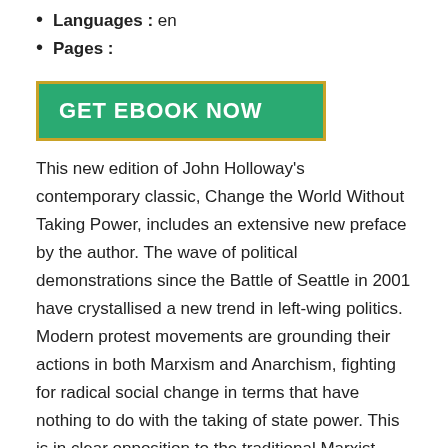Languages : en
Pages :
GET EBOOK NOW
This new edition of John Holloway's contemporary classic, Change the World Without Taking Power, includes an extensive new preface by the author. The wave of political demonstrations since the Battle of Seattle in 2001 have crystallised a new trend in left-wing politics. Modern protest movements are grounding their actions in both Marxism and Anarchism, fighting for radical social change in terms that have nothing to do with the taking of state power. This is in clear opposition to the traditional Marxist theory of revolution which centres on the overthrow of government. In this book, John Holloway asks how we can reformulate our